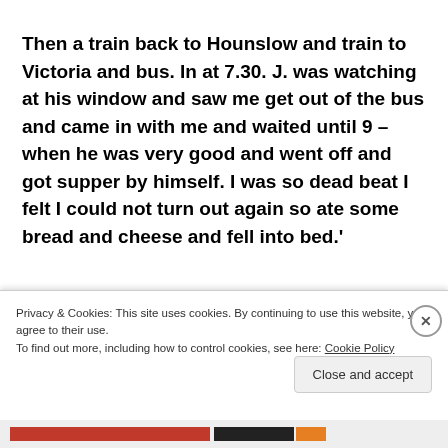Then a train back to Hounslow and train to Victoria and bus. In at 7.30. J. was watching at his window and saw me get out of the bus and came in with me and waited until 9 – when he was very good and went off and got supper by himself. I was so dead beat I felt I could not turn out again so ate some bread and cheese and fell into bed.'
Privacy & Cookies: This site uses cookies. By continuing to use this website, you agree to their use. To find out more, including how to control cookies, see here: Cookie Policy